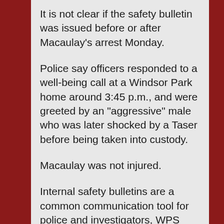It is not clear if the safety bulletin was issued before or after Macaulay's arrest Monday.
Police say officers responded to a well-being call at a Windsor Park home around 3:45 p.m., and were greeted by an "aggressive" male who was later shocked by a Taser before being taken into custody.
Macaulay was not injured.
Internal safety bulletins are a common communication tool for police and investigators, WPS spokesperson Const. Jay Murray said Wednesday.
"On any given day, there are many different internal communications that can go around, whether it's from other agencies detailing information that can help investigators — that is not an unusual situation for investigators sharing information with each other that...